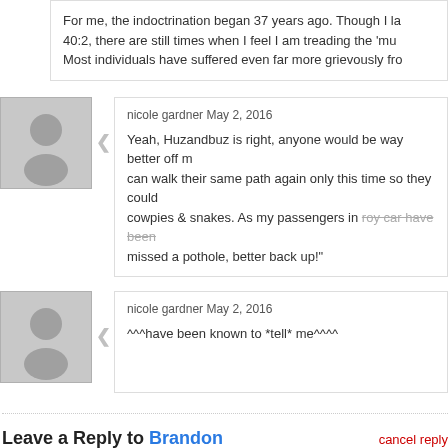For me, the indoctrination began 37 years ago. Though I la 40:2, there are still times when I feel I am treading the 'mu Most individuals have suffered even far more grievously fro
nicole gardner May 2, 2016
Yeah, Huzandbuz is right, anyone would be way better off m can walk their same path again only this time so they could cowpies & snakes. As my passengers in roy car have been missed a pothole, better back up!"
nicole gardner May 2, 2016
^^^have been known to *tell* me^^^^
Leave a Reply to Brandon
cancel reply